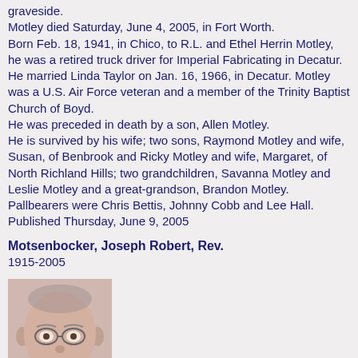graveside. Motley died Saturday, June 4, 2005, in Fort Worth. Born Feb. 18, 1941, in Chico, to R.L. and Ethel Herrin Motley, he was a retired truck driver for Imperial Fabricating in Decatur. He married Linda Taylor on Jan. 16, 1966, in Decatur. Motley was a U.S. Air Force veteran and a member of the Trinity Baptist Church of Boyd. He was preceded in death by a son, Allen Motley. He is survived by his wife; two sons, Raymond Motley and wife, Susan, of Benbrook and Ricky Motley and wife, Margaret, of North Richland Hills; two grandchildren, Savanna Motley and Leslie Motley and a great-grandson, Brandon Motley. Pallbearers were Chris Bettis, Johnny Cobb and Lee Hall. Published Thursday, June 9, 2005
Motsenbocker, Joseph Robert, Rev.
1915-2005
[Figure (photo): Portrait photo of an elderly man with glasses, wearing a white shirt]